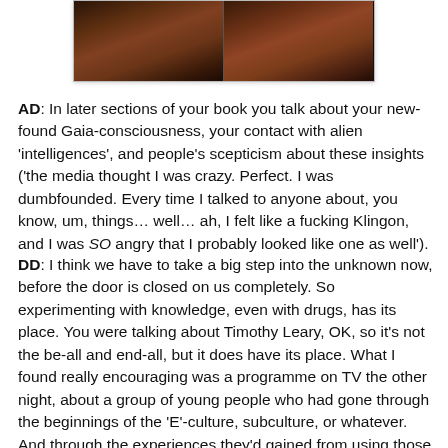[Figure (photo): Two side-by-side dark-toned photographs of people, shown cropped at the top of the page]
AD: In later sections of your book you talk about your new-found Gaia-consciousness, your contact with alien 'intelligences', and people's scepticism about these insights ('the media thought I was crazy. Perfect. I was dumbfounded. Every time I talked to anyone about, you know, um, things… well… ah, I felt like a fucking Klingon, and I was SO angry that I probably looked like one as well').
DD: I think we have to take a big step into the unknown now, before the door is closed on us completely. So experimenting with knowledge, even with drugs, has its place. You were talking about Timothy Leary, OK, so it's not the be-all and end-all, but it does have its place. What I found really encouraging was a programme on TV the other night, about a group of young people who had gone through the beginnings of the 'E'-culture, subculture, or whatever. And through the experiences they'd gained from using those things they'd decided to set up their own little group in which